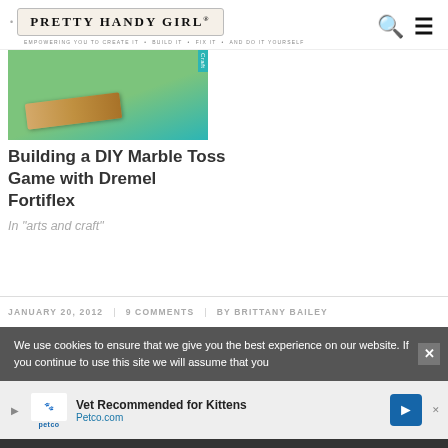PRETTY HANDY GIRL® — EMPOWERING YOU TO CREATE IT • BUILD IT • FIX IT • AND DO IT YOURSELF
[Figure (photo): Partial thumbnail image of a DIY Marble Toss Game project, showing wood piece on green surface with teal overlay]
Building a DIY Marble Toss Game with Dremel Fortiflex
In "arts and craft"
JANUARY 20, 2012  |  9 COMMENTS  |  BY BRITTANY BAILEY
We use cookies to ensure that we give you the best experience on our website. If you continue to use this site we will assume that you
[Figure (infographic): Petco advertisement: Vet Recommended for Kittens — Petco.com, with Petco logo and navigation arrow icon]